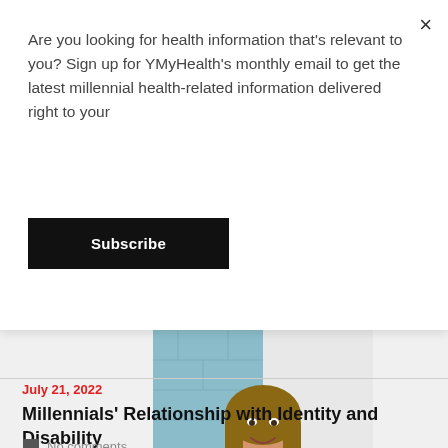Are you looking for health information that's relevant to you? Sign up for YMyHealth's monthly email to get the latest millennial health-related information delivered right to your
Subscribe
[Figure (photo): A smiling woman with long hair wearing a dark navy t-shirt, standing in front of a light blue and white brick wall]
July 21, 2022
Millennials' Relationship with Identity and Disability
No comments